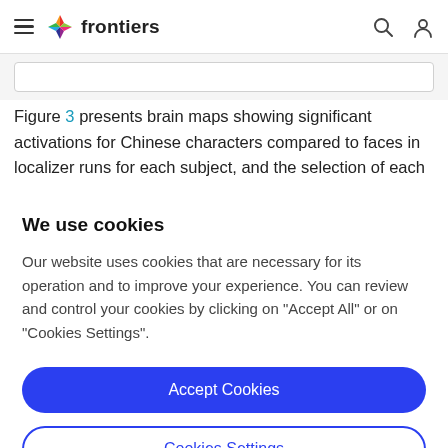frontiers
Figure 3 presents brain maps showing significant activations for Chinese characters compared to faces in localizer runs for each subject, and the selection of each
We use cookies
Our website uses cookies that are necessary for its operation and to improve your experience. You can review and control your cookies by clicking on "Accept All" or on "Cookies Settings".
Accept Cookies
Cookies Settings